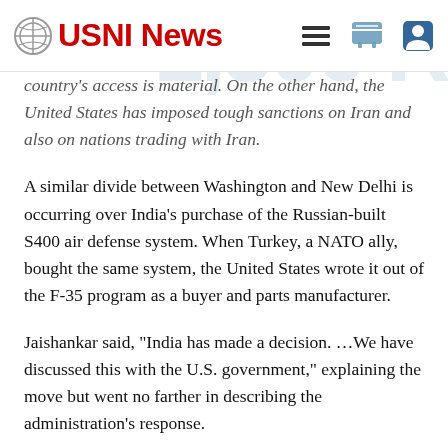USNI News
country's access is material. On the other hand, the United States has imposed tough sanctions on Iran and also on nations trading with Iran.
A similar divide between Washington and New Delhi is occurring over India's purchase of the Russian-built S400 air defense system. When Turkey, a NATO ally, bought the same system, the United States wrote it out of the F-35 program as a buyer and parts manufacturer.
Jaishankar said, “India has made a decision. …We have discussed this with the U.S. government,” explaining the move but went no farther in describing the administration’s response.
Earlier, he cited the Malabar maritime exercise as an